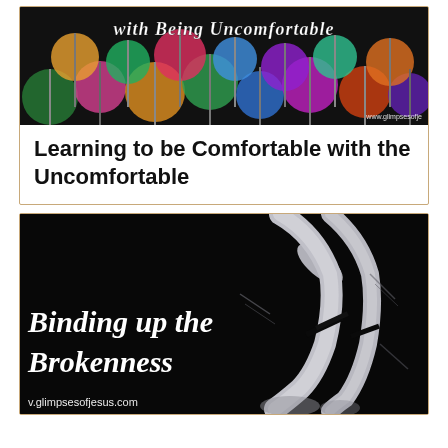[Figure (photo): Colorful pom-pom balls on sticks with cursive white text overlay reading 'with Being Uncomfortable' and watermark 'www.glimpsesofjе']
Learning to be Comfortable with the Uncomfortable
[Figure (photo): X-ray image of a broken forearm/wrist bone on black background with cursive white text overlay reading 'Binding up the Brokenness' and watermark 'v.glimpsesofjesus.com']